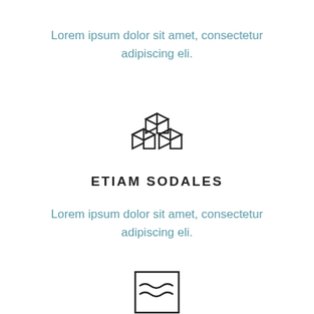Lorem ipsum dolor sit amet, consectetur adipiscing eli.
[Figure (illustration): Three stacked 3D cube boxes icon, outline style, dark color]
ETIAM SODALES
Lorem ipsum dolor sit amet, consectetur adipiscing eli.
[Figure (illustration): Square icon with wavy lines inside, outline style, dark color — resembling a flag or chart with waves]